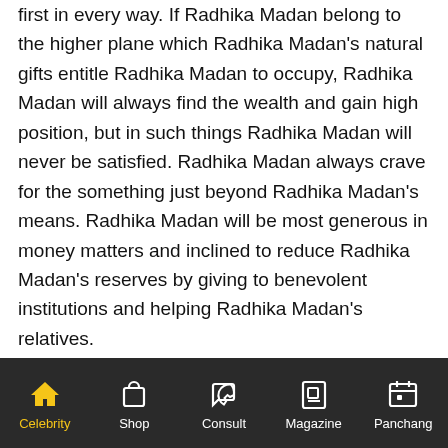first in every way. If Radhika Madan belong to the higher plane which Radhika Madan's natural gifts entitle Radhika Madan to occupy, Radhika Madan will always find the wealth and gain high position, but in such things Radhika Madan will never be satisfied. Radhika Madan always crave for the something just beyond Radhika Madan's means. Radhika Madan will be most generous in money matters and inclined to reduce Radhika Madan's reserves by giving to benevolent institutions and helping Radhika Madan's relatives.
More Categories
Businessman
Politician
Cricket
Celebrity  Shop  Consult  Magazine  Panchang